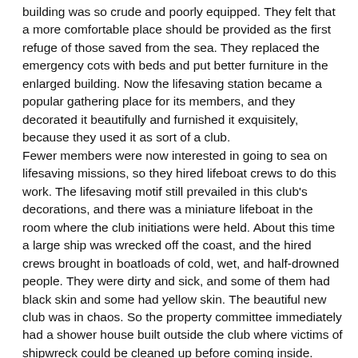building was so crude and poorly equipped. They felt that a more comfortable place should be provided as the first refuge of those saved from the sea. They replaced the emergency cots with beds and put better furniture in the enlarged building. Now the lifesaving station became a popular gathering place for its members, and they decorated it beautifully and furnished it exquisitely, because they used it as sort of a club.
Fewer members were now interested in going to sea on lifesaving missions, so they hired lifeboat crews to do this work. The lifesaving motif still prevailed in this club's decorations, and there was a miniature lifeboat in the room where the club initiations were held. About this time a large ship was wrecked off the coast, and the hired crews brought in boatloads of cold, wet, and half-drowned people. They were dirty and sick, and some of them had black skin and some had yellow skin. The beautiful new club was in chaos. So the property committee immediately had a shower house built outside the club where victims of shipwreck could be cleaned up before coming inside.

At the next meeting, there was a split in the club membership. Most of the members wanted to stop the club's lifesaving activities, since they were unpleasant and a hindrance to the normal social life of the club. Some members insisted upon lifesaving as their primary